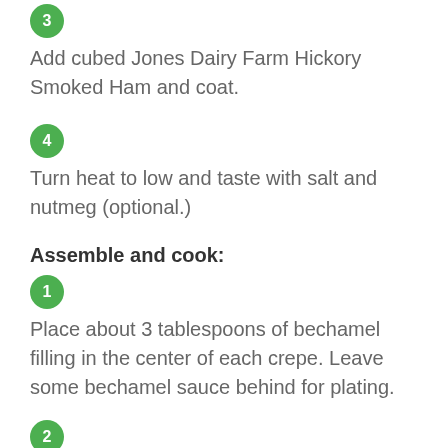3 Add cubed Jones Dairy Farm Hickory Smoked Ham and coat.
4 Turn heat to low and taste with salt and nutmeg (optional.)
Assemble and cook:
1 Place about 3 tablespoons of bechamel filling in the center of each crepe. Leave some bechamel sauce behind for plating.
2 Fold bottom of crepe 1/3 up, covering up